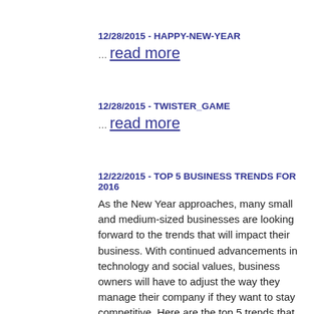12/28/2015 - HAPPY-NEW-YEAR
… read more
12/28/2015 - TWISTER_GAME
… read more
12/22/2015 - TOP 5 BUSINESS TRENDS FOR 2016
As the New Year approaches, many small and medium-sized businesses are looking forward to the trends that will impact their business. With continued advancements in technology and social values, business owners will have to adjust the way they manage their company if they want to stay competitive. Here are the top 5 trends that